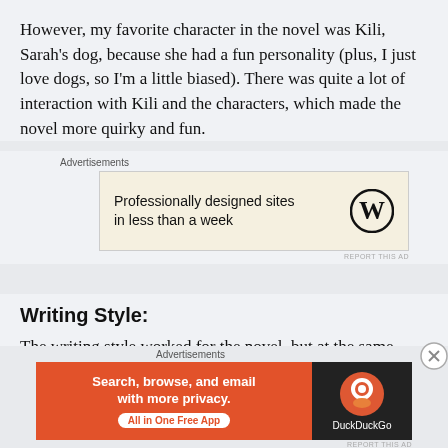However, my favorite character in the novel was Kili, Sarah’s dog, because she had a fun personality (plus, I just love dogs, so I’m a little biased). There was quite a lot of interaction with Kili and the characters, which made the novel more quirky and fun.
[Figure (other): WordPress advertisement: 'Professionally designed sites in less than a week' with WordPress logo on beige background]
Writing Style:
The writing style worked for the novel, but at the same
[Figure (other): DuckDuckGo advertisement: 'Search, browse, and email with more privacy. All in One Free App' on orange background with DuckDuckGo logo on dark background]